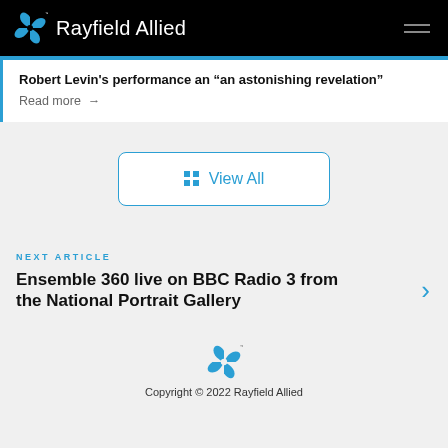Rayfield Allied
Robert Levin's performance an “an astonishing revelation”
Read more →
View All
NEXT ARTICLE
Ensemble 360 live on BBC Radio 3 from the National Portrait Gallery
Copyright © 2022 Rayfield Allied